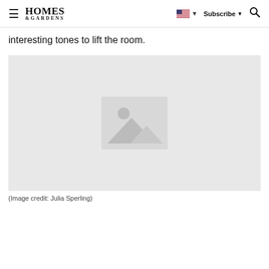≡  HOMES & GARDENS  🇺🇸 ▾  Subscribe ▾  🔍
interesting tones to lift the room.
[Figure (photo): Placeholder image with mountain/landscape icon on light grey background]
(Image credit: Julia Sperling)